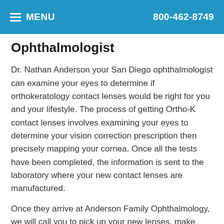MENU  800-462-8749
Ophthalmologist
Dr. Nathan Anderson your San Diego ophthalmologist can examine your eyes to determine if orthokeratology contact lenses would be right for you and your lifestyle. The process of getting Ortho-K contact lenses involves examining your eyes to determine your vision correction prescription then precisely mapping your cornea. Once all the tests have been completed, the information is sent to the laboratory where your new contact lenses are manufactured.
Once they arrive at Anderson Family Ophthalmology, we will call you to pick up your new lenses, make sure they fit correctly and to develop a wear